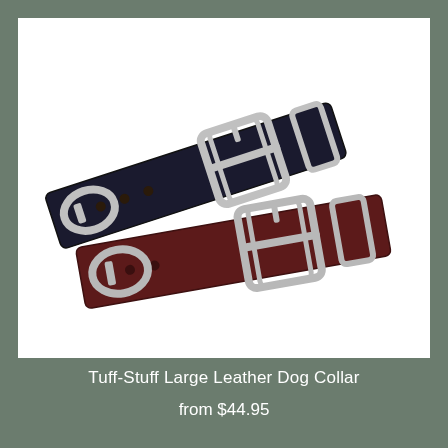[Figure (photo): Two leather dog collars — one black and one dark burgundy/brown — with silver metal buckles and D-rings, shown overlapping on a white background.]
Tuff-Stuff Large Leather Dog Collar
from $44.95